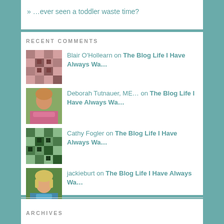» …ever seen a toddler waste time?
RECENT COMMENTS
Blair O'Hollearn on The Blog Life I Have Always Wa…
Deborah Tutnauer, ME… on The Blog Life I Have Always Wa…
Cathy Fogler on The Blog Life I Have Always Wa…
jackieburt on The Blog Life I Have Always Wa…
Melanie Gonzales (@g… on The Blog Life I Have Always Wa…
ARCHIVES